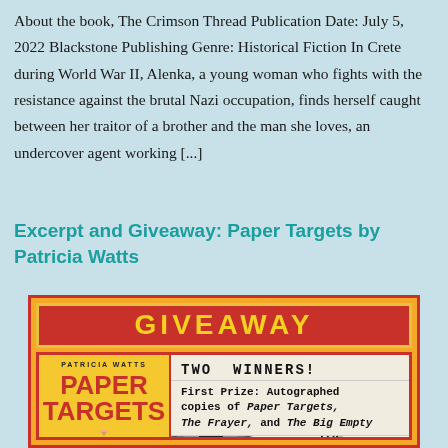About the book, The Crimson Thread Publication Date: July 5, 2022 Blackstone Publishing Genre: Historical Fiction In Crete during World War II, Alenka, a young woman who fights with the resistance against the brutal Nazi occupation, finds herself caught between her traitor of a brother and the man she loves, an undercover agent working [...]
Excerpt and Giveaway: Paper Targets by Patricia Watts
[Figure (infographic): Giveaway banner with orange/red color scheme. Title bar says GIVEAWAY in yellow letters on red background. Below: left side shows book cover for 'Paper Targets' by Patricia Watts (yellow cover, red title). Right side says 'TWO WINNERS!' and 'First Prize: Autographed copies of Paper Targets, The Frayer, and The Big Empty'. Below the prize text are two smaller book covers: one showing a person looking through a window, and 'The Big Empty' by Stan Jones and Patricia Watts.]